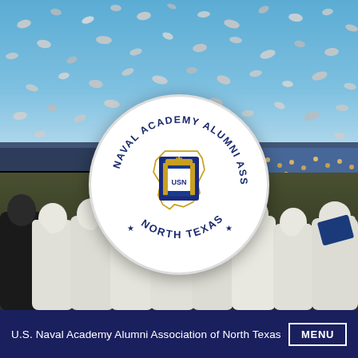[Figure (photo): Naval Academy graduation ceremony photo: top half shows blue sky filled with white caps being tossed; middle shows a dark horizontal band; bottom half shows naval graduates in white uniforms celebrating at a stadium. Overlaid in the center is the Naval Academy Alumni Association of North Texas circular logo featuring the Texas state outline and USNA seal.]
U.S. Naval Academy Alumni Association of North Texas  MENU